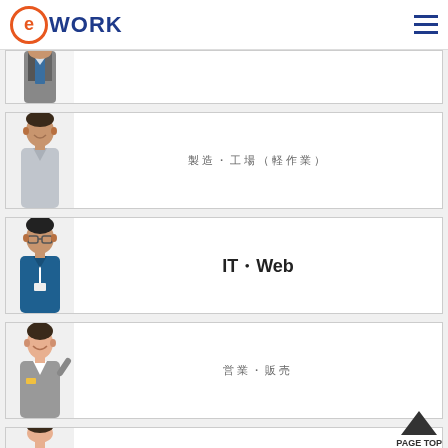eWORK
[Figure (photo): Person in business suit (partially visible, top of card)]
[Figure (photo): Young man in grey work uniform smiling]
製造・工場（軽作業）
[Figure (photo): Man with glasses wearing blue shirt and lanyard]
IT・Web
[Figure (photo): Woman in grey business suit smiling]
営業・販売
[Figure (photo): Woman in casual top smiling, partially visible]
事務
PAGE TOP